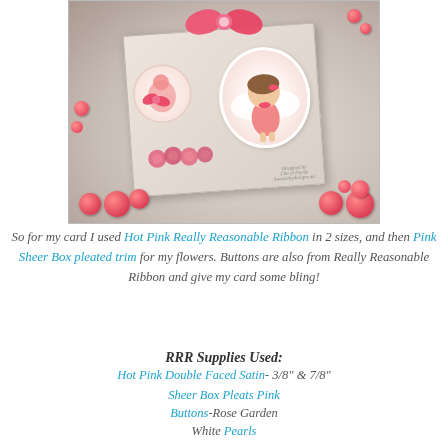[Figure (photo): A handmade craft card decorated with a cute angel girl illustration, pink satin ribbons/bows, red/pink buttons, and pink flower embellishments. The card has a distressed/vintage background and is surrounded by red round buttons.]
So for my card I used Hot Pink Really Reasonable Ribbon in 2 sizes, and then Pink Sheer Box pleated trim for my flowers. Buttons are also from Really Reasonable Ribbon and give my card some bling!
RRR Supplies Used:
Hot Pink Double Faced Satin- 3/8" & 7/8"
Sheer Box Pleats Pink
Buttons-Rose Garden
White Pearls